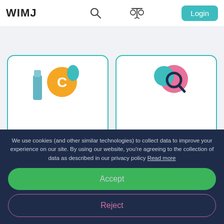WIMJ — with search, scale/compare, and Login navigation icons
[Figure (illustration): Two cards side by side: left card shows colorful cosmetics ingredient icons with teal border, right card shows abstract shapes with teal border]
Products by ingredients
Search Free-from
Scientific Sources
We use cookies (and other similar technologies) to collect data to improve your experience on our site. By using our website, you're agreeing to the collection of data as described in our privacy policy Read more
Accept
Reject